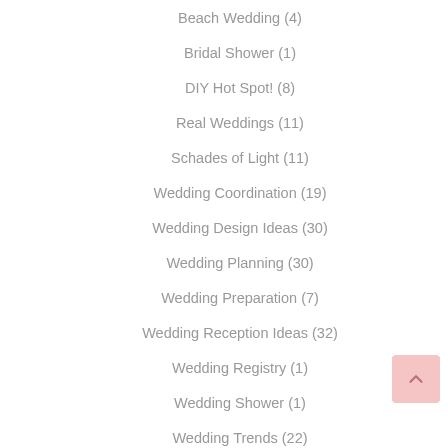Beach Wedding (4)
Bridal Shower (1)
DIY Hot Spot! (8)
Real Weddings (11)
Schades of Light (11)
Wedding Coordination (19)
Wedding Design Ideas (30)
Wedding Planning (30)
Wedding Preparation (7)
Wedding Reception Ideas (32)
Wedding Registry (1)
Wedding Shower (1)
Wedding Trends (22)